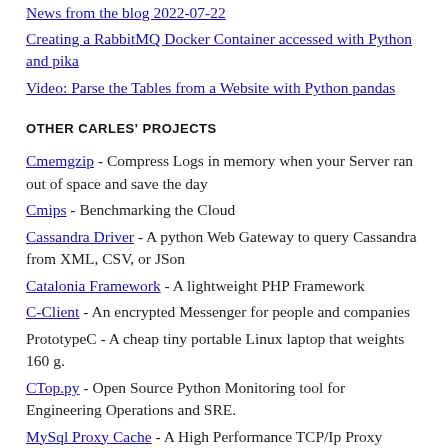News from the blog 2022-07-22
Creating a RabbitMQ Docker Container accessed with Python and pika
Video: Parse the Tables from a Website with Python pandas
OTHER CARLES' PROJECTS
Cmemgzip - Compress Logs in memory when your Server ran out of space and save the day
Cmips - Benchmarking the Cloud
Cassandra Driver - A python Web Gateway to query Cassandra from XML, CSV, or JSon
Catalonia Framework - A lightweight PHP Framework
C-Client - An encrypted Messenger for people and companies
PrototypeC - A cheap tiny portable Linux laptop that weights 160 g.
CTop.py - Open Source Python Monitoring tool for Engineering Operations and SRE.
MySql Proxy Cache - A High Performance TCP/Ip Proxy Cache for